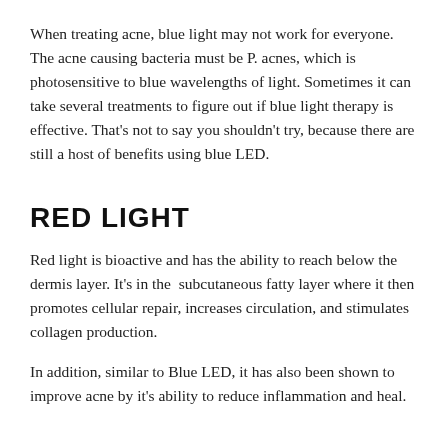When treating acne, blue light may not work for everyone.  The acne causing bacteria must be P. acnes, which is photosensitive to blue wavelengths of light. Sometimes it can take several treatments to figure out if blue light therapy is effective. That's not to say you shouldn't try, because there are still a host of benefits using blue LED.
RED LIGHT
Red light is bioactive and has the ability to reach below the dermis layer. It's in the  subcutaneous fatty layer where it then promotes cellular repair, increases circulation, and stimulates collagen production.
In addition, similar to Blue LED, it has also been shown to improve acne by it's ability to reduce inflammation and heal.